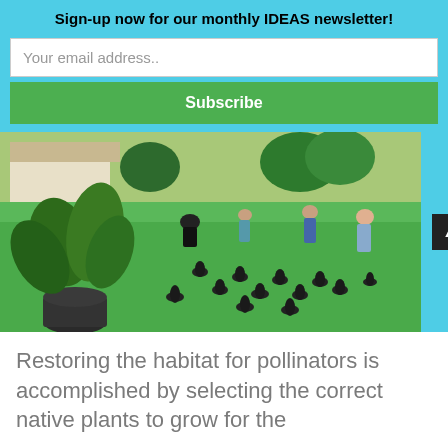Sign-up now for our monthly IDEAS newsletter!
Your email address..
Subscribe
[Figure (photo): Group of people planting potted plants in rows on a grass lawn outdoors, with trees and a house in the background. A large-leafed plant in a black pot is prominent on the left.]
Restoring the habitat for pollinators is accomplished by selecting the correct native plants to grow for the